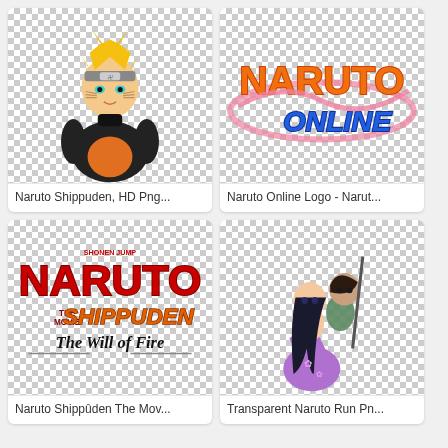[Figure (illustration): Naruto Shippuden character illustration on transparent/checker background]
Naruto Shippuden, HD Png...
[Figure (logo): Naruto Online Logo on transparent/checker background]
Naruto Online Logo - Narut...
[Figure (illustration): Naruto Shippuden The Movie: The Will of Fire logo on transparent/checker background]
Naruto Shippûden The Mov...
[Figure (illustration): Transparent Naruto Run Png - anime couple illustration on checker background]
Transparent Naruto Run Pn...